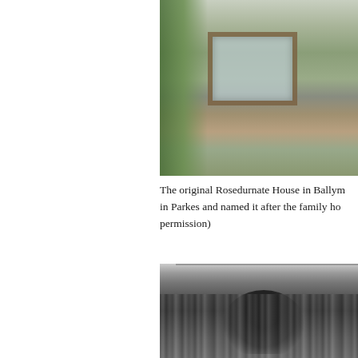[Figure (photo): Photograph of an overgrown, dilapidated house (Rosedurnate House) with vegetation covering the facade, a deteriorating window with wooden frame, brick steps, and iron fence. The building has a bluish-grey wall with heavy plant growth.]
The original Rosedurnate House in Ballym... in Parkes and named it after the family ho... permission)
[Figure (photo): Black and white photograph, partially visible, appearing to show a crowd or group of people.]